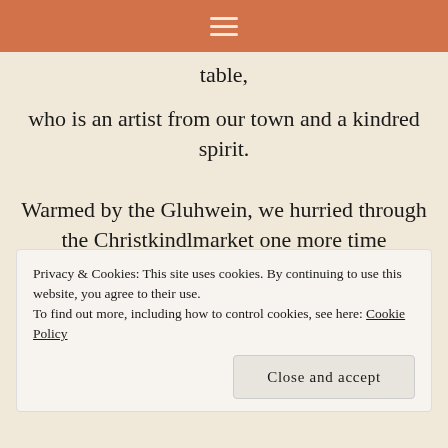☰
table,
who is an artist from our town and a kindred spirit.
Warmed by the Gluhwein, we hurried through the Christkindlmarket one more time
in late afternoon cold, and headed for home.
What a heartwarming way to celebrate with a dear friend!
Privacy & Cookies: This site uses cookies. By continuing to use this website, you agree to their use.
To find out more, including how to control cookies, see here: Cookie Policy
Close and accept